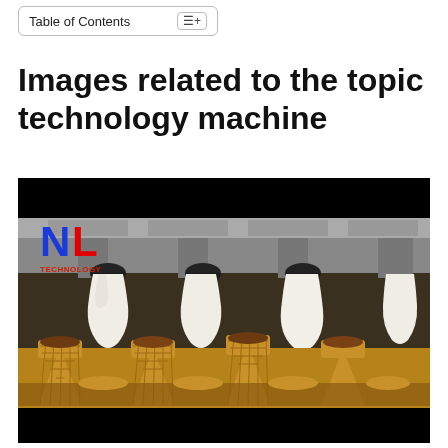Table of Contents
Images related to the topic technology machine
[Figure (photo): Industrial ice cream filling machine dispensing white cream/ice cream into waffle cones arranged in rows on a conveyor. An NL Technology logo is visible in the upper left corner of the image. The image has black bars at top and bottom.]